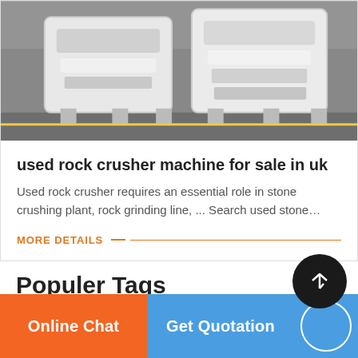[Figure (photo): Photo of white rock crusher machines in a factory setting]
used rock crusher machine for sale in uk
Used rock crusher requires an essential role in stone crushing plant, rock grinding line, ... Search used stone…
MORE DETAILS
[Figure (other): Scroll to top button - dark circle with upward arrow]
Populer Tags
[Figure (other): Orange and dark decorative bar elements]
Online Chat   Get Quotation